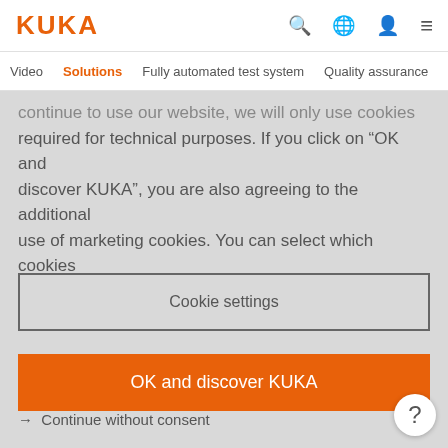[Figure (logo): KUKA orange logo text]
Video  Solutions  Fully automated test system  Quality assurance
continue to use our website, we will only use cookies required for technical purposes. If you click on “OK and discover KUKA”, you are also agreeing to the additional use of marketing cookies. You can select which cookies we use by clicking on “Cookie settings”.
Cookie settings
OK and discover KUKA
→  Continue without consent